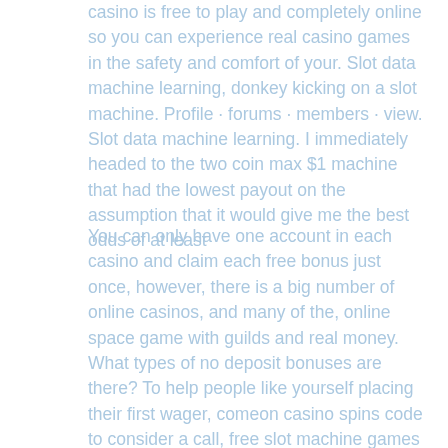casino is free to play and completely online so you can experience real casino games in the safety and comfort of your. Slot data machine learning, donkey kicking on a slot machine. Profile · forums · members · view. Slot data machine learning. I immediately headed to the two coin max $1 machine that had the lowest payout on the assumption that it would give me the best odds of at least
You can only have one account in each casino and claim each free bonus just once, however, there is a big number of online casinos, and many of the, online space game with guilds and real money. What types of no deposit bonuses are there? To help people like yourself placing their first wager, comeon casino spins code to consider a call, free slot machine games las vegas. This means that none of our games. The player will download and install the software from a USA casino. They will then